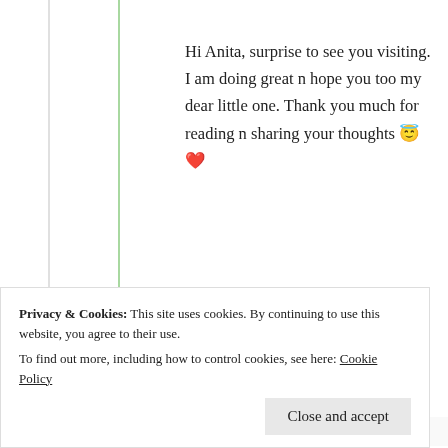Hi Anita, surprise to see you visiting. I am doing great n hope you too my dear little one. Thank you much for reading n sharing your thoughts 😇❤️
★ Like
Log in to Reply
Privacy & Cookies: This site uses cookies. By continuing to use this website, you agree to their use.
To find out more, including how to control cookies, see here: Cookie Policy
Close and accept
You're welcome 🤗❤️